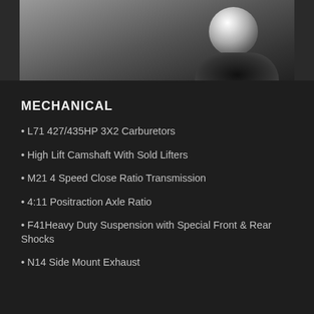[Figure (photo): Close-up photo of a classic car showing chrome and black body details, partially cropped at top of page.]
MECHANICAL
L71 427/435HP 3X2 Carburetors
High Lift Camshaft With Sold Lifters
M21 4 Speed Close Ratio Transmission
4:11 Positraction Axle Ratio
F41Heavy Duty Suspension with Special Front & Rear Shocks
N14 Side Mount Exhaust